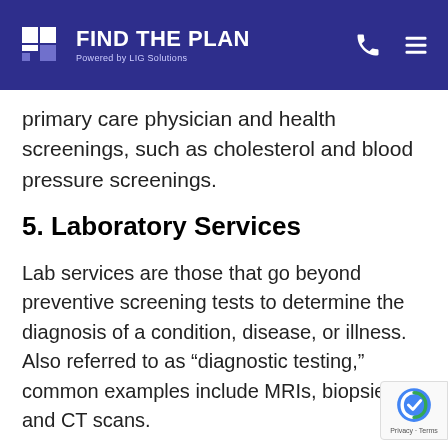FIND THE PLAN — Powered by LIG Solutions
primary care physician and health screenings, such as cholesterol and blood pressure screenings.
5. Laboratory Services
Lab services are those that go beyond preventive screening tests to determine the diagnosis of a condition, disease, or illness. Also referred to as “diagnostic testing,” common examples include MRIs, biopsies, and CT scans.